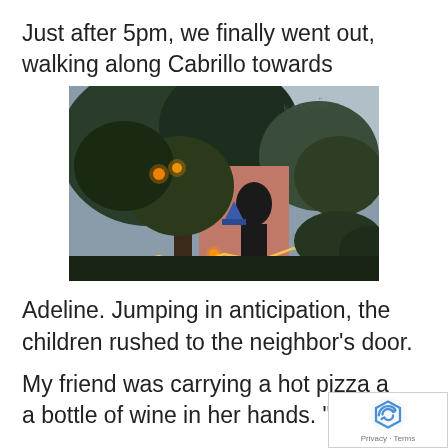Just after 5pm, we finally went out, walking along Cabrillo towards
[Figure (photo): Nighttime photo of a decorated house or yard with glowing orange lights, large trees, dark foliage, a figure in dark clothing, and string lights along the ground. Halloween-style decorations visible.]
Adeline. Jumping in anticipation, the children rushed to the neighbor's door.
My friend was carrying a hot pizza a a bottle of wine in her hands. “What